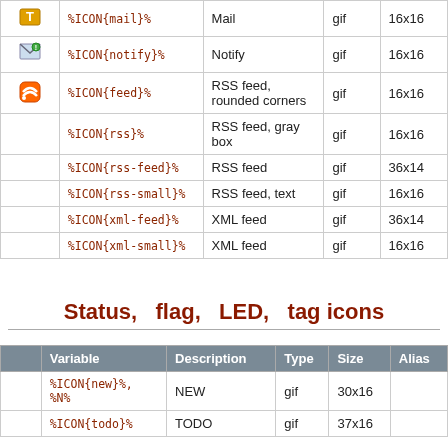|  | Variable | Description | Type | Size |
| --- | --- | --- | --- | --- |
| [T icon] | %ICON{mail}% | Mail | gif | 16x16 |
| [notify icon] | %ICON{notify}% | Notify | gif | 16x16 |
| [feed icon] | %ICON{feed}% | RSS feed, rounded corners | gif | 16x16 |
|  | %ICON{rss}% | RSS feed, gray box | gif | 16x16 |
|  | %ICON{rss-feed}% | RSS feed | gif | 36x14 |
|  | %ICON{rss-small}% | RSS feed, text | gif | 16x16 |
|  | %ICON{xml-feed}% | XML feed | gif | 36x14 |
|  | %ICON{xml-small}% | XML feed | gif | 16x16 |
Status, flag, LED, tag icons
|  | Variable | Description | Type | Size | Alias |
| --- | --- | --- | --- | --- | --- |
|  | %ICON{new}%, %N% | NEW | gif | 30x16 |  |
|  | %ICON{todo}% | TODO | gif | 37x16 |  |